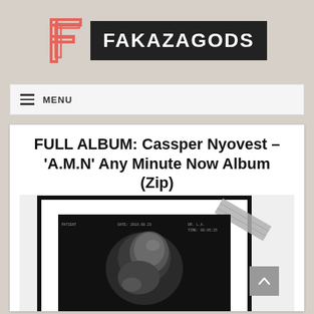[Figure (logo): FakazaGods logo: stylized F letter in coral/salmon color next to a dark box with white text FAKAZAGODS]
≡ MENU
FULL ALBUM: Cassper Nyovest – 'A.M.N' Any Minute Now Album (Zip)
[Figure (photo): Album cover for A.M.N (Any Minute Now) by Cassper Nyovest showing an ultrasound image of a fetus taped with duct tape to a white surface, with text A.M.N at the bottom]